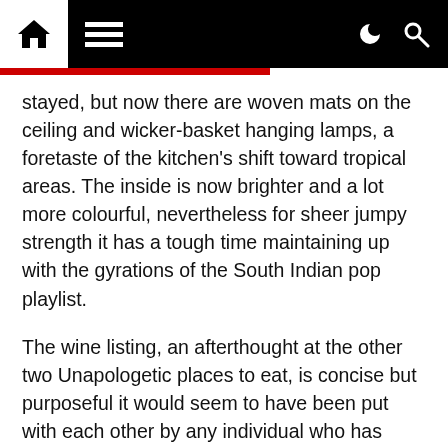Home | Menu | Dark mode | Search
stayed, but now there are woven mats on the ceiling and wicker-basket hanging lamps, a foretaste of the kitchen's shift toward tropical areas. The inside is now brighter and a lot more colourful, nevertheless for sheer jumpy strength it has a tough time maintaining up with the gyrations of the South Indian pop playlist.
The wine listing, an afterthought at the other two Unapologetic places to eat, is concise but purposeful it would seem to have been put with each other by any individual who has apply having Indian food items with wine. There are some out-of-the-normal beers, alongside with a handful of cocktails infused with issues like curry leaves and cardamom. Why you just can't get a cup of tea is further than me, but I'm not keeping my breath